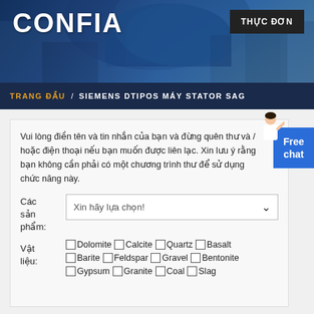CONFIA
THỰC ĐƠN
TRANG ĐẦU / SIEMENS DTIPOS MÁY STATOR SAG
Vui lòng điền tên và tin nhắn của bạn và đừng quên thư và / hoặc điện thoại nếu bạn muốn được liên lạc. Xin lưu ý rằng bạn không cần phải có một chương trình thư để sử dụng chức năng này.
Các sản phẩm: Xin hãy lựa chọn!
Vật liệu: □ Dolomite □ Calcite □ Quartz □ Basalt □ Barite □ Feldspar □ Gravel □ Bentonite □ Gypsum □ Granite □ Coal □ Slag